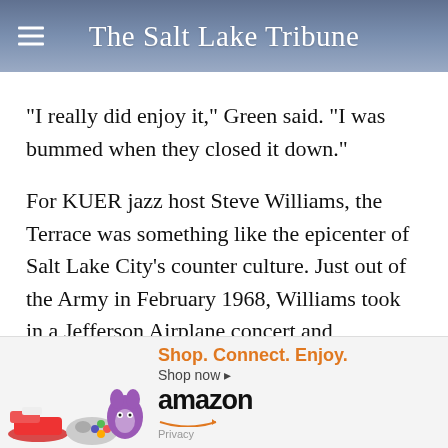The Salt Lake Tribune
"I really did enjoy it," Green said. "I was bummed when they closed it down."
For KUER jazz host Steve Williams, the Terrace was something like the epicenter of Salt Lake City's counter culture. Just out of the Army in February 1968, Williams took in a Jefferson Airplane concert and immediately felt right at ho…
[Figure (screenshot): Amazon advertisement banner with product images (purple cat plush, Xbox controller, red sneakers), tagline 'Shop. Connect. Enjoy.', 'Shop now' link, Amazon logo with orange arrow smile, and Privacy link.]